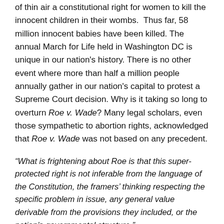of thin air a constitutional right for women to kill the innocent children in their wombs. Thus far, 58 million innocent babies have been killed. The annual March for Life held in Washington DC is unique in our nation's history. There is no other event where more than half a million people annually gather in our nation's capital to protest a Supreme Court decision. Why is it taking so long to overturn Roe v. Wade? Many legal scholars, even those sympathetic to abortion rights, acknowledged that Roe v. Wade was not based on any precedent.
“What is frightening about Roe is that this super-protected right is not inferable from the language of the Constitution, the framers’ thinking respecting the specific problem in issue, any general value derivable from the provisions they included, or the nation’s governmental structure.”
— John Hart Ely, Yale Law Professor
“One of the most curious things about Roe is that, behind its